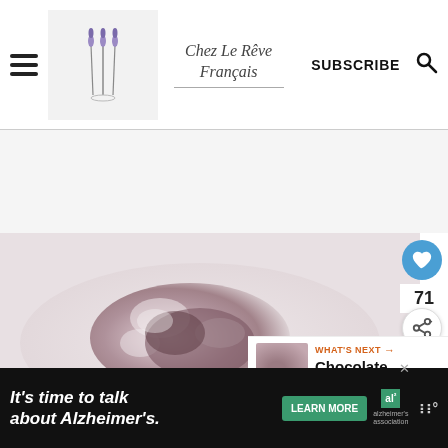Chez Le Rêve Français — SUBSCRIBE
[Figure (photo): Food photo showing what appears to be a chocolate or berry pastry dusted with powdered sugar on a plate]
71
WHAT'S NEXT → Chocolate Roulade
It's time to talk about Alzheimer's. LEARN MORE